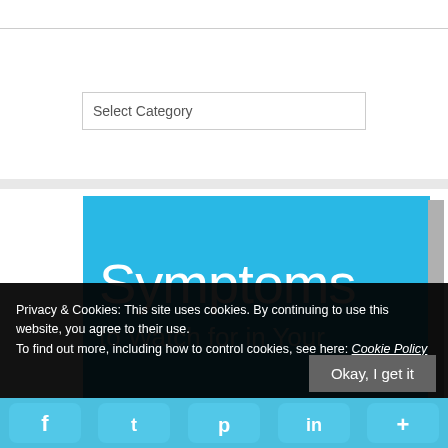Select Category
[Figure (screenshot): Partial view of a book or infographic cover with light blue background showing large white text 'Symptoms' and below it 'to Watch for in Your']
Privacy & Cookies: This site uses cookies. By continuing to use this website, you agree to their use. To find out more, including how to control cookies, see here: Cookie Policy
Okay, I get it
[Figure (infographic): Social sharing bar with Facebook, Twitter, Pinterest, LinkedIn, and More icons on a light blue background]